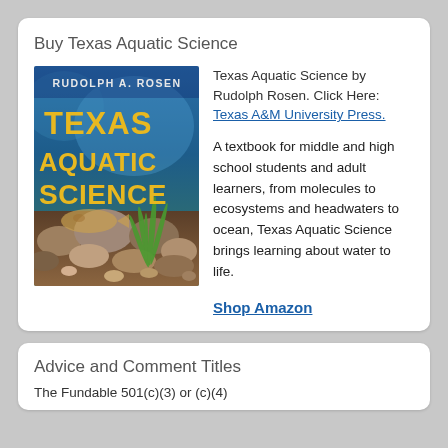Buy Texas Aquatic Science
[Figure (photo): Book cover of Texas Aquatic Science by Rudolph A. Rosen, showing underwater scene with fish, rocks, and aquatic plants, with the title in large yellow text.]
Texas Aquatic Science by Rudolph Rosen. Click Here: Texas A&M University Press.
A textbook for middle and high school students and adult learners, from molecules to ecosystems and headwaters to ocean, Texas Aquatic Science brings learning about water to life.
Shop Amazon
Advice and Comment Titles
The Fundable 501(c)(3) or (c)(4)